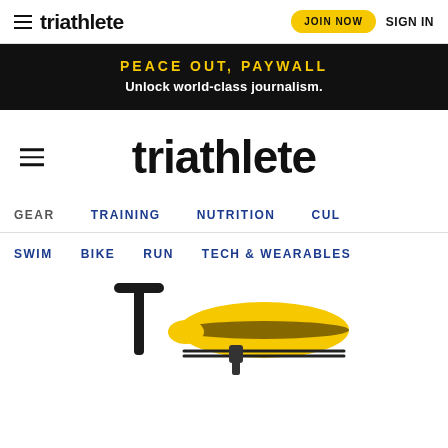triathlete  JOIN NOW  SIGN IN
PEACE OUT, PAYWALL
Unlock world-class journalism.
triathlete
GEAR  TRAINING  NUTRITION  CUL
SWIM  BIKE  RUN  TECH & WEARABLES
[Figure (photo): Partial view of a yellow and black bicycle saddle and handlebar components]